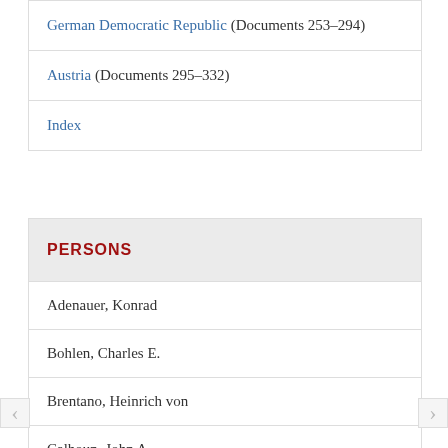German Democratic Republic (Documents 253-294)
Austria (Documents 295-332)
Index
PERSONS
Adenauer, Konrad
Bohlen, Charles E.
Brentano, Heinrich von
Calhoun, John A.
Eisenhower, Dwight D.
Herter, Christian A.